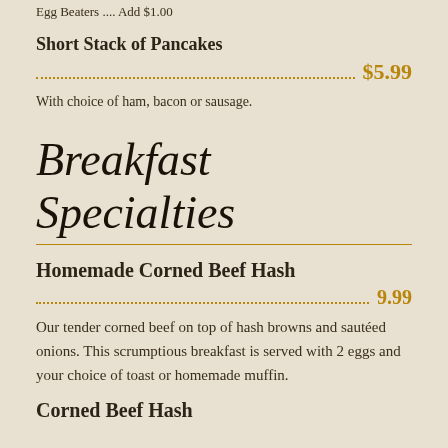Egg Beaters .... Add $1.00
Short Stack of Pancakes
$5.99
With choice of ham, bacon or sausage.
Breakfast Specialties
Homemade Corned Beef Hash
9.99
Our tender corned beef on top of hash browns and sautéed onions. This scrumptious breakfast is served with 2 eggs and your choice of toast or homemade muffin.
Corned Beef Hash